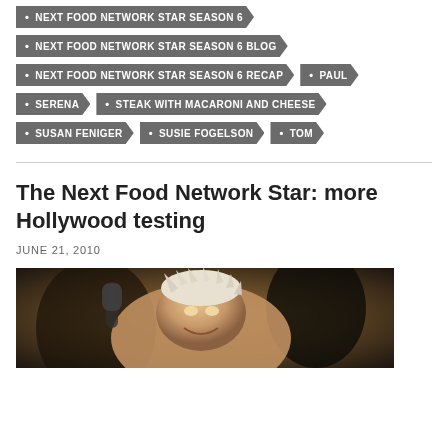NEXT FOOD NETWORK STAR SEASON 6
NEXT FOOD NETWORK STAR SEASON 6 BLOG
NEXT FOOD NETWORK STAR SEASON 6 RECAP
PAUL
SERENA
STEAK WITH MACARONI AND CHEESE
SUSAN FENIGER
SUSIE FOGELSON
TOM
The Next Food Network Star: more Hollywood testing
JUNE 21, 2010
[Figure (photo): Photo of a person with spiky bleached blonde hair, laughing or smiling, in what appears to be a studio or kitchen setting with equipment visible in the background]